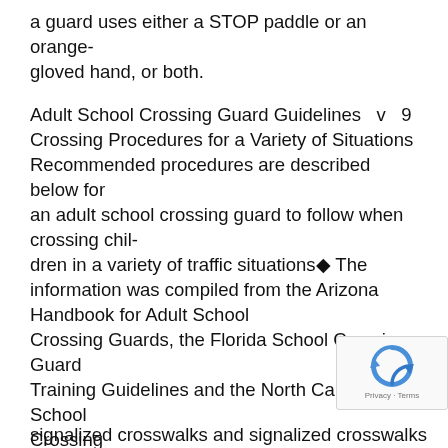a guard uses either a STOP paddle or an orange-gloved hand, or both.
Adult School Crossing Guard Guidelines   v   9
Crossing Procedures for a Variety of Situations
Recommended procedures are described below for an adult school crossing guard to follow when crossing chil-
dren in a variety of traffic situations◆ The information was compiled from the Arizona Handbook for Adult School
Crossing Guards, the Florida School Crossing Guard Training Guidelines and the North Carolina School Crossing
Guard Program: Training Manual (See Resources at end of this document for further information.)
Procedures are described for guards in situations un –
signalized crosswalks and signalized crosswalks